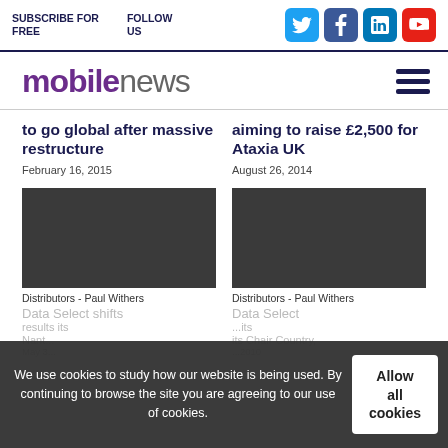SUBSCRIBE FOR FREE | FOLLOW US
mobilenews
to go global after massive restructure
February 16, 2015
aiming to raise £2,500 for Ataxia UK
August 26, 2014
[Figure (photo): Dark placeholder image for article about going global after massive restructure]
Distributors - Paul Withers
[Figure (photo): Dark placeholder image for article about aiming to raise £2,500 for Ataxia UK]
Distributors - Paul Withers
We use cookies to study how our website is being used. By continuing to browse the site you are agreeing to our use of cookies.